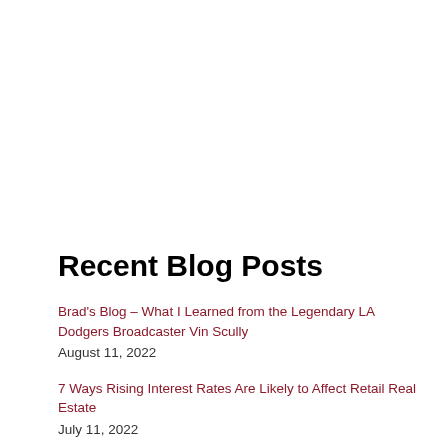Recent Blog Posts
Brad's Blog – What I Learned from the Legendary LA Dodgers Broadcaster Vin Scully
August 11, 2022
7 Ways Rising Interest Rates Are Likely to Affect Retail Real Estate
July 11, 2022
Hey Alexa: Will Amazon Fresh Reshape the Grocery Business?
June 14, 2022